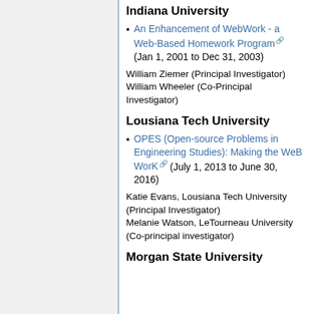Indiana University
An Enhancement of WebWork - a Web-Based Homework Program (Jan 1, 2001 to Dec 31, 2003)
William Ziemer (Principal Investigator)
William Wheeler (Co-Principal Investigator)
Lousiana Tech University
OPES (Open-source Problems in Engineering Studies): Making the WeB WorK (July 1, 2013 to June 30, 2016)
Katie Evans, Lousiana Tech University (Principal Investigator)
Melanie Watson, LeTourneau University (Co-principal investigator)
Morgan State University